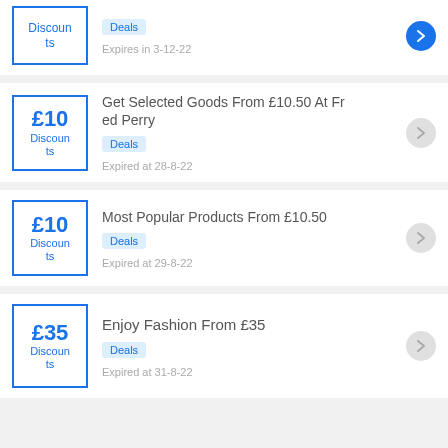Discounts | Deals | Expires in 3-12-22
Get Selected Goods From £10.50 At Fred Perry | £10 Discounts | Deals | Expired at 28-8-22
Most Popular Products From £10.50 | £10 Discounts | Deals | Expired at 29-8-22
Enjoy Fashion From £35 | £35 Discounts | Deals | Expired at 31-8-22